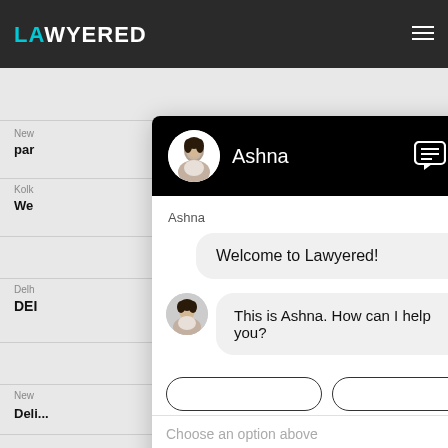[Figure (screenshot): Lawyered website background with dark top navigation bar showing teal LAW logo text, hamburger menu icon, and partial website content rows with city labels (Kolkata, Delhi, New) partially visible behind a chat widget overlay]
[Figure (screenshot): Chat widget overlay with black header showing circular avatar photo of Ashna, agent name 'Ashna', chat bubble icon and X close button. Chat body shows 'Ashna' sender label, welcome bubble 'Welcome to Lawyered!', then a second message row with small avatar and bubble 'This is Ashna. How can I help you?'. Below are two partially visible option buttons. Input area shows 'Choose an option above' placeholder text and attachment/emoji icons.]